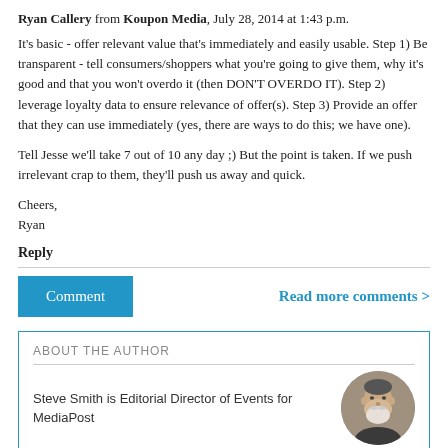Ryan Callery from Koupon Media, July 28, 2014 at 1:43 p.m.
It's basic - offer relevant value that's immediately and easily usable. Step 1) Be transparent - tell consumers/shoppers what you're going to give them, why it's good and that you won't overdo it (then DON'T OVERDO IT). Step 2) leverage loyalty data to ensure relevance of offer(s). Step 3) Provide an offer that they can use immediately (yes, there are ways to do this; we have one).
Tell Jesse we'll take 7 out of 10 any day ;) But the point is taken. If we push irrelevant crap to them, they'll push us away and quick.
Cheers,
Ryan
Reply
Comment
Read more comments >
ABOUT THE AUTHOR
Steve Smith is Editorial Director of Events for MediaPost
[Figure (photo): Headshot photo of Steve Smith, a man with a white beard]